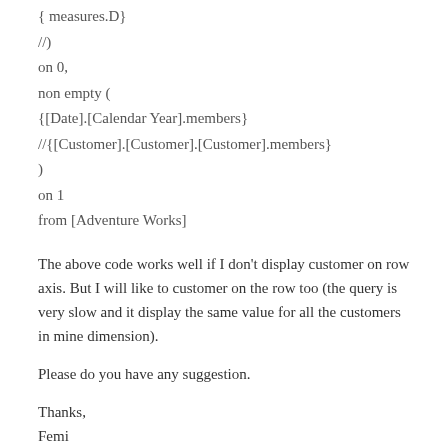{ measures.D}
//)
on 0,
non empty (
{[Date].[Calendar Year].members}
//{[Customer].[Customer].[Customer].members}
)
on 1
from [Adventure Works]
The above code works well if I don't display customer on row axis. But I will like to customer on the row too (the query is very slow and it display the same value for all the customers in mine dimension).
Please do you have any suggestion.
Thanks,
Femi
Loading...
Chris Webb says:
REPLY